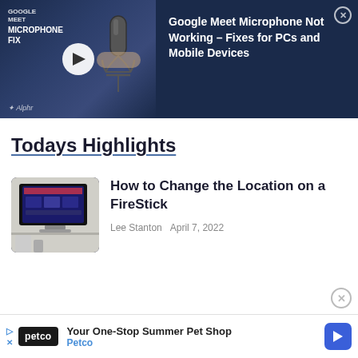[Figure (screenshot): Video banner for 'Google Meet Microphone Not Working – Fixes for PCs and Mobile Devices' with thumbnail showing a microphone, play button, and Alphr logo on left; title and close button on right, dark navy background]
Todays Highlights
[Figure (photo): Thumbnail image of a Fire TV Stick mounted on a wall-mounted TV showing Fire TV interface]
How to Change the Location on a FireStick
Lee Stanton   April 7, 2022
[Figure (screenshot): Petco advertisement banner: 'Your One-Stop Summer Pet Shop' with Petco logo and navigation arrow icon]